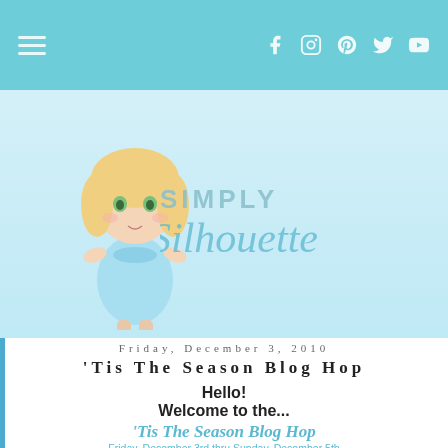Navigation bar with hamburger menu and social icons (Facebook, Instagram, Pinterest, Twitter, YouTube)
[Figure (illustration): Simply Silhouette blog logo with a chibi-style blonde girl character in a blue dress, and the text 'SIMPLY Silhouette' in teal/mint tones on a light blue background]
Friday, December 3, 2010
'Tis The Season Blog Hop
Hello!
Welcome to the...
'Tis The Season Blog Hop
Friday, December 3rd thru Sunday, December 5th
[Figure (illustration): Blue decorative banner with text 'Tis the' in white cursive on a teal/snowflake background]